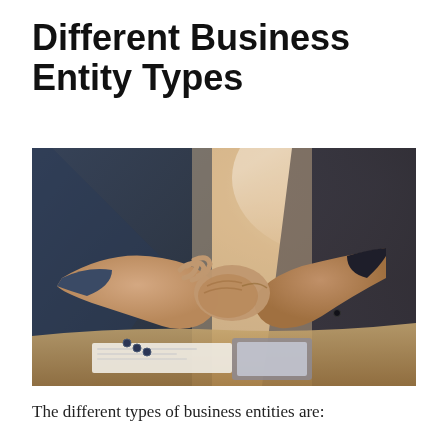Different Business Entity Types
[Figure (photo): Two business people in suits shaking hands over a desk with papers and a laptop, close-up of handshake, warm backlit office background]
The different types of business entities are: